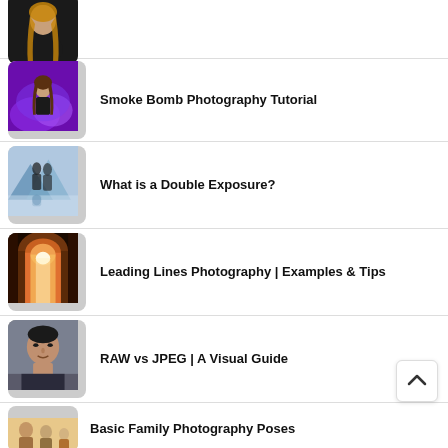(portrait photo item — no title visible)
Smoke Bomb Photography Tutorial
What is a Double Exposure?
Leading Lines Photography | Examples & Tips
RAW vs JPEG | A Visual Guide
Basic Family Photography Poses
[Figure (illustration): Back-to-top button with upward caret arrow]